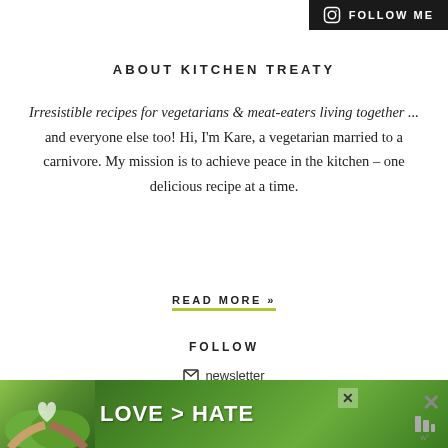FOLLOW ME
ABOUT KITCHEN TREATY
Irresistible recipes for vegetarians & meat-eaters living together ... and everyone else too! Hi, I'm Kare, a vegetarian married to a carnivore. My mission is to achieve peace in the kitchen – one delicious recipe at a time.
READ MORE »
FOLLOW
newsletter
facebook
[Figure (photo): Advertisement banner showing hands forming a heart shape with text LOVE > HATE on green background]